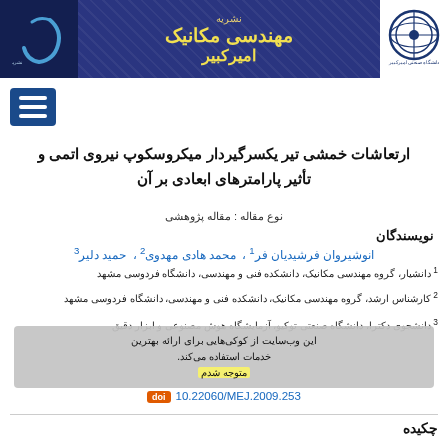نشریه مهندسی مکانیک امیرکبیر
ارتعاشات خمشی تیر یکسرگیردار میکروسکوپ نیروی اتمی و تأثیر پارامترهای ابعادی بر آن
نوع مقاله : مقاله پژوهشی
نویسندگان
انوشیروان فرشیدیان فر 1 ،  محمد هادی مهدوی 2 ،  حمید دلیر 3
1 دانشیار، گروه مهندسی مکانیک، دانشکده فنی و مهندسی، دانشگاه فردوسی مشهد
2 کارشناس ارشد، گروه مهندسی مکانیک، دانشکده فنی و مهندسی، دانشگاه فردوسی مشهد
3 دانشجوی دکترا، دانشگاه صنعتی توکیو، آزمایشگاه هوش مصنوعی و ابزار دقیق
10.22060/MEJ.2009.253
چکیده